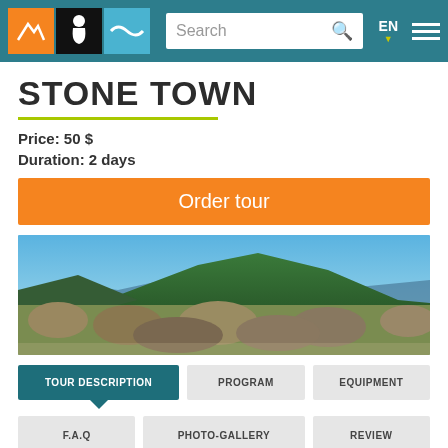Navigation bar with logo icons (orange mountain, black figure, blue wave), search box, EN language selector, and hamburger menu
STONE TOWN
Price: 50 $
Duration: 2 days
Order tour
[Figure (photo): Panoramic mountain landscape photo with rocky foreground, green mountain ridge in the middle, and blue sky]
TOUR DESCRIPTION | PROGRAM | EQUIPMENT
F.A.Q | PHOTO-GALLERY | REVIEW